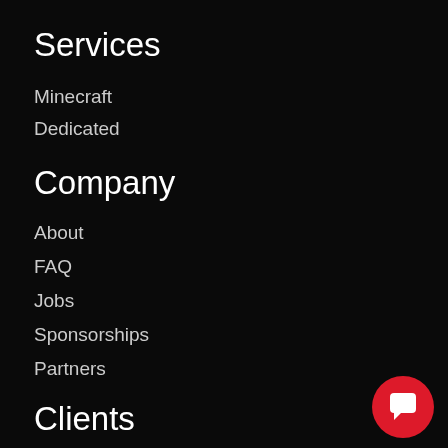Services
Minecraft
Dedicated
Company
About
FAQ
Jobs
Sponsorships
Partners
Clients
Sign in
Sign up
Support Ticket
Knowledge Base
[Figure (illustration): Red circular chat/support button with white speech bubble icon, positioned bottom-right]